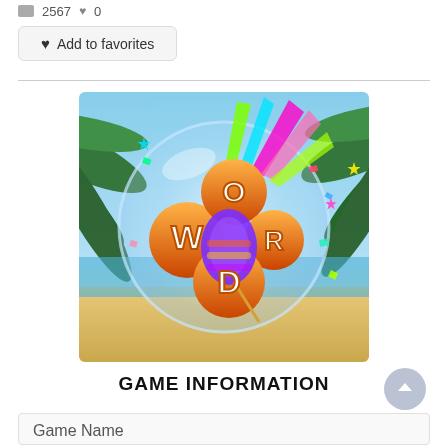2567  0
♥ Add to favorites
[Figure (illustration): Word game app icon showing a tropical beach background with palm trees, a large glass bubble containing orange 3D letter bubbles spelling WORD (W, O, R, D), colorful party confetti and streaks, and a purple pinata in the center.]
GAME INFORMATION
Game Name